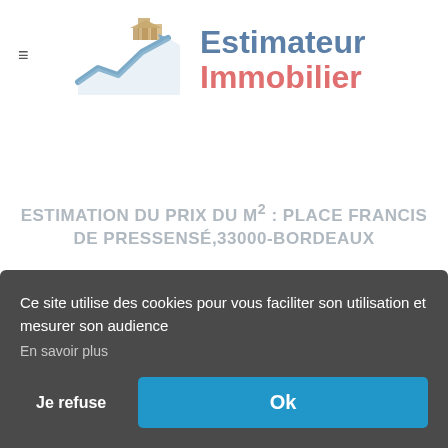[Figure (logo): Estimateur Immobilier logo with building/chart icon, blue and salmon text]
ESTIMATION DU PRIX DU M² : PLACE FRANCIS DE PRESSENSÉ,33000-BORDEAUX
Place Francis de Pressensé,33000-
Ce site utilise des cookies pour vous faciliter son utilisation et mesurer son audience
En savoir plus
Je refuse
Ok